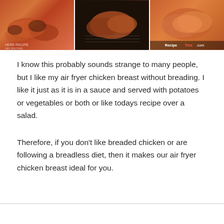[Figure (photo): Three side-by-side photos of air fryer chicken breast: left shows golden-brown roasted chicken pieces, center shows chicken on a baking rack in dark background, right shows glazed/sauced chicken pieces with RecipeThis.com watermark]
I know this probably sounds strange to many people, but I like my air fryer chicken breast without breading. I like it just as it is in a sauce and served with potatoes or vegetables or both or like todays recipe over a salad.
Therefore, if you don't like breaded chicken or are following a breadless diet, then it makes our air fryer chicken breast ideal for you.